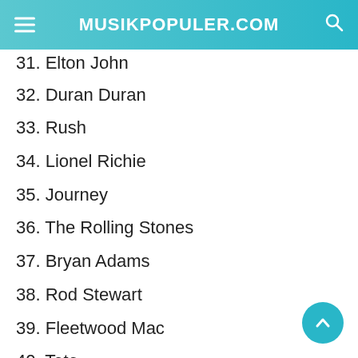MUSIKPOPULER.COM
31. Elton John
32. Duran Duran
33. Rush
34. Lionel Richie
35. Journey
36. The Rolling Stones
37. Bryan Adams
38. Rod Stewart
39. Fleetwood Mac
40. Toto
41. Beastie Boys
42. Pixies
43. Heart
44. Tears for Fears
45. Scorpions